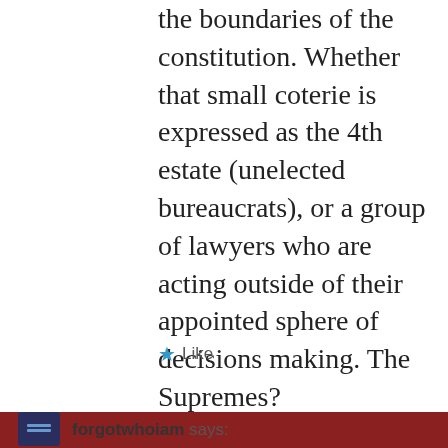the boundaries of the constitution. Whether that small coterie is expressed as the 4th estate (unelected bureaucrats), or a group of lawyers who are acting outside of their appointed sphere of decisions making. The Supremes?
★ Like
forgotwhoiam says: